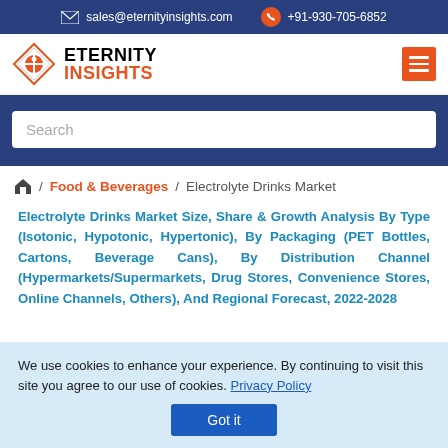sales@eternityinsights.com  +91-930-705-6852
[Figure (logo): Eternity Insights logo with diamond shape icon and text ETERNITY INSIGHTS]
Search
/ Food & Beverages / Electrolyte Drinks Market
Electrolyte Drinks Market Size, Share & Growth Analysis By Type (Isotonic, Hypotonic, Hypertonic), By Packaging (PET Bottles, Cartons, Beverage Cans), By Distribution Channel (Hypermarkets/Supermarkets, Drug Stores, Convenience Stores, Online Channels, Others), And Regional Forecast, 2022-2028
We use cookies to enhance your experience. By continuing to visit this site you agree to our use of cookies. Privacy Policy Got it